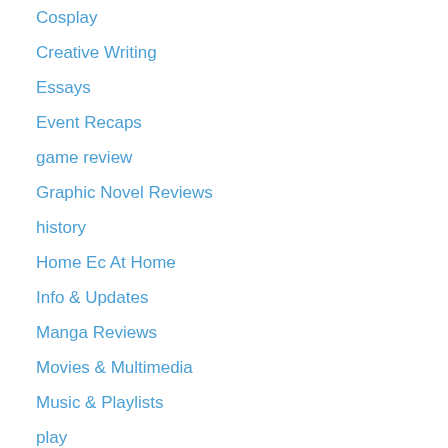Cosplay
Creative Writing
Essays
Event Recaps
game review
Graphic Novel Reviews
history
Home Ec At Home
Info & Updates
Manga Reviews
Movies & Multimedia
Music & Playlists
play
podcasts
poetry
school life
Series Reviews
sports
summer
The Works of John Steinbeck